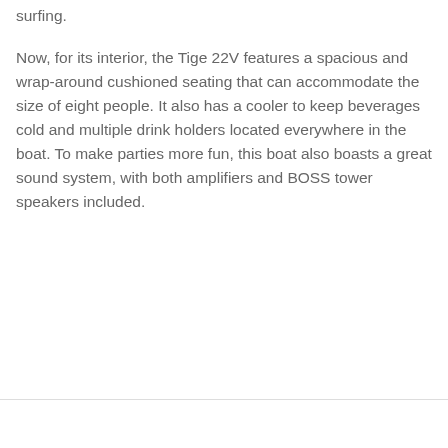surfing.
Now, for its interior, the Tige 22V features a spacious and wrap-around cushioned seating that can accommodate the size of eight people. It also has a cooler to keep beverages cold and multiple drink holders located everywhere in the boat. To make parties more fun, this boat also boasts a great sound system, with both amplifiers and BOSS tower speakers included.